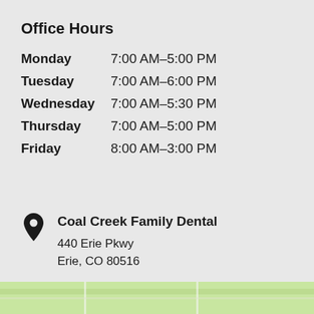Office Hours
| Monday | 7:00 AM–5:00 PM |
| Tuesday | 7:00 AM–6:00 PM |
| Wednesday | 7:00 AM–5:30 PM |
| Thursday | 7:00 AM–5:00 PM |
| Friday | 8:00 AM–3:00 PM |
Coal Creek Family Dental
440 Erie Pkwy
Erie, CO 80516
303-953-0530
Colorado Dental Professionals, LLC
[Figure (map): Partial map view at bottom of page showing green area]